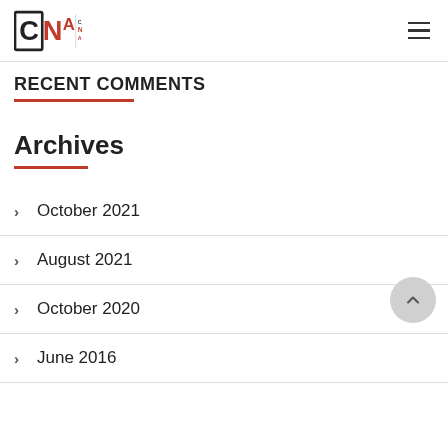Canadian National Appraisals
Recent Comments
Archives
October 2021
August 2021
October 2020
June 2016